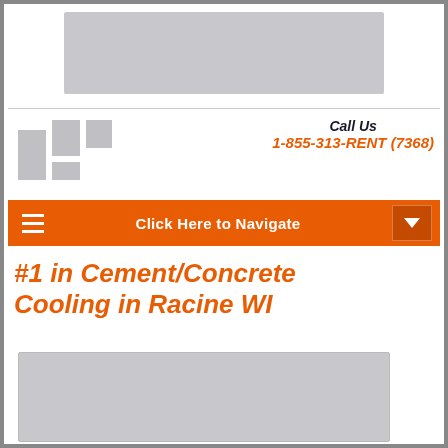[Figure (other): Gray advertisement banner placeholder at top of page]
[Figure (logo): Company logo made of gray rectangular blocks]
Call Us
1-855-313-RENT (7368)
Click Here to Navigate
#1 in Cement/Concrete Cooling in Racine WI
[Figure (photo): Gray image placeholder at bottom of page]